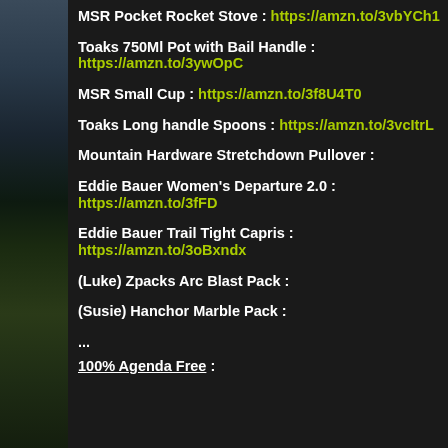[Figure (photo): Dark landscape background image on the left strip showing sky and green field at dusk]
MSR Pocket Rocket Stove : https://amzn.to/3vbYCh1
Toaks 750Ml Pot with Bail Handle : https://amzn.to/3ywOpC
MSR Small Cup : https://amzn.to/3f8U4T0
Toaks Long handle Spoons : https://amzn.to/3vcItrL
Mountain Hardware Stretchdown Pullover :
Eddie Bauer Women's Departure 2.0 : https://amzn.to/3fFD
Eddie Bauer Trail Tight Capris : https://amzn.to/3oBxndx
(Luke) Zpacks Arc Blast Pack :
(Susie) Hanchor Marble Pack :
...
100% Agenda Free :